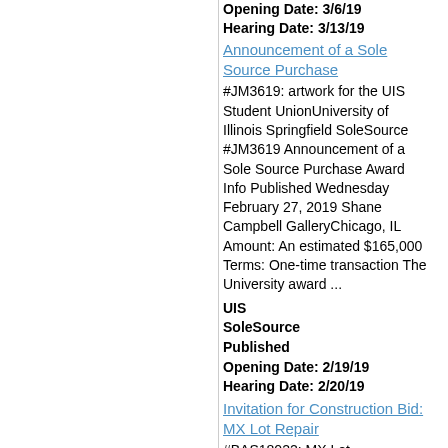Opening Date: 3/6/19
Hearing Date: 3/13/19
Announcement of a Sole Source Purchase
#JM3619: artwork for the UIS Student UnionUniversity of Illinois Springfield SoleSource #JM3619 Announcement of a Sole Source Purchase Award Info Published Wednesday February 27, 2019 Shane Campbell GalleryChicago, IL Amount: An estimated $165,000 Terms: One-time transaction The University award ...
UIS
SoleSource
Published
Opening Date: 2/19/19
Hearing Date: 2/20/19
Invitation for Construction Bid: MX Lot Repair
#BAS18022: MX Lot RepairUniversity of Illinois Springfield Bid #BAS18022 Invitation for Construction Bid: MX Lot ...